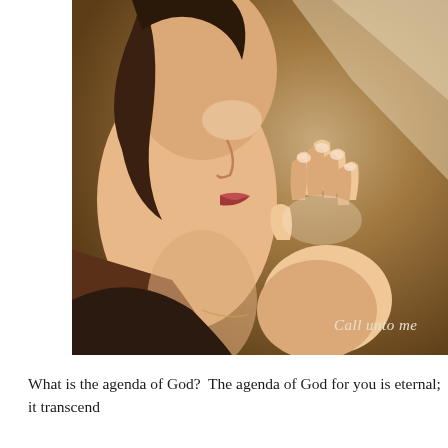[Figure (photo): A woman in profile with hands clasped together in prayer, looking upward. Warm golden-brown tones. Text overlay reads 'Call unto me' in the lower right.]
Call unto me
What is the agenda of God?  The agenda of God for you is eternal; it transcend